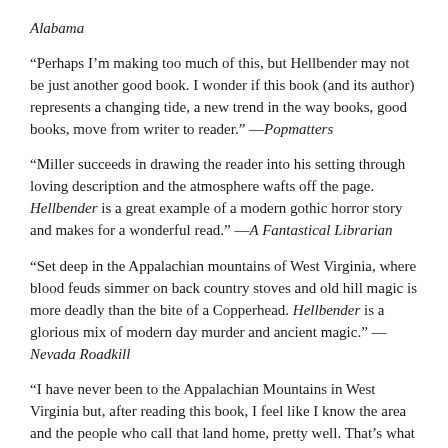Alabama
“Perhaps I’m making too much of this, but Hellbender may not be just another good book. I wonder if this book (and its author) represents a changing tide, a new trend in the way books, good books, move from writer to reader.” —Popmatters
“Miller succeeds in drawing the reader into his setting through loving description and the atmosphere wafts off the page. Hellbender is a great example of a modern gothic horror story and makes for a wonderful read.” —A Fantastical Librarian
“Set deep in the Appalachian mountains of West Virginia, where blood feuds simmer on back country stoves and old hill magic is more deadly than the bite of a Copperhead. Hellbender is a glorious mix of modern day murder and ancient magic.” —Nevada Roadkill
“I have never been to the Appalachian Mountains in West Virginia but, after reading this book, I feel like I know the area and the people who call that land home, pretty well. That’s what a well-written fiction can do to you–allowing you to travel in time and space.” —Books as Portable Pieces of Thought
The Revelations of Preston Black